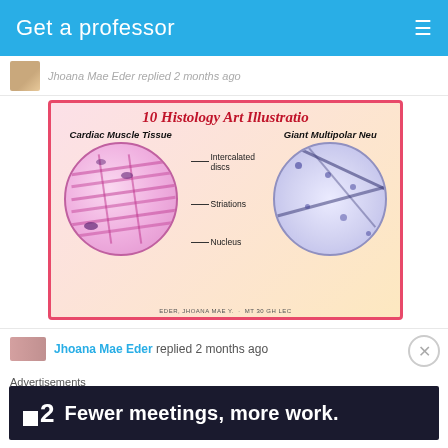Get a professor
Jhoana Mae Eder replied 2 months ago
[Figure (illustration): 10 Histology Art Illustrations showing Cardiac Muscle Tissue with labeled intercalated discs, striations, and nucleus, and Giant Multipolar Neuron illustration. Footer reads: EDER, JHOANA MAE Y. · MT 30 GH LEC]
Jhoana Mae Eder replied 2 months ago
Advertisements
[Figure (screenshot): Advertisement banner: F2 logo with text 'Fewer meetings, more work.']